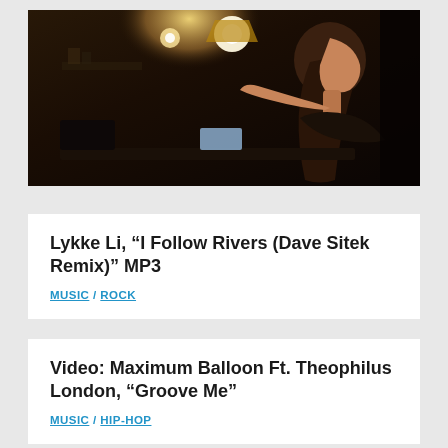[Figure (photo): A woman with long hair in profile view, reaching toward a light or lamp on a dark desk, warm ambient lighting in background]
Lykke Li, “I Follow Rivers (Dave Sitek Remix)” MP3
MUSIC / ROCK
Video: Maximum Balloon Ft. Theophilus London, “Groove Me”
MUSIC / HIP-HOP